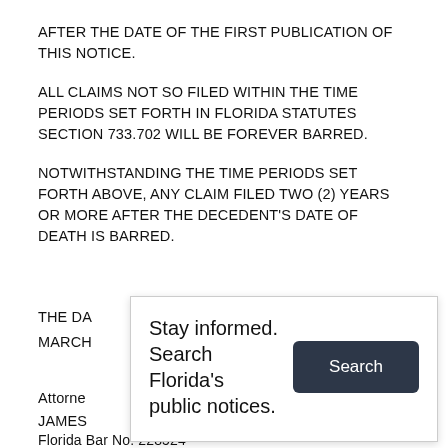AFTER THE DATE OF THE FIRST PUBLICATION OF THIS NOTICE.
ALL CLAIMS NOT SO FILED WITHIN THE TIME PERIODS SET FORTH IN FLORIDA STATUTES SECTION 733.702 WILL BE FOREVER BARRED.
NOTWITHSTANDING THE TIME PERIODS SET FORTH ABOVE, ANY CLAIM FILED TWO (2) YEARS OR MORE AFTER THE DECEDENT'S DATE OF DEATH IS BARRED.
THE DA
MARCH
[Figure (other): A popup overlay with text 'Stay informed. Search Florida's public notices.' and a dark Search button]
Attorne
JAMES
Florida Bar No. 228524